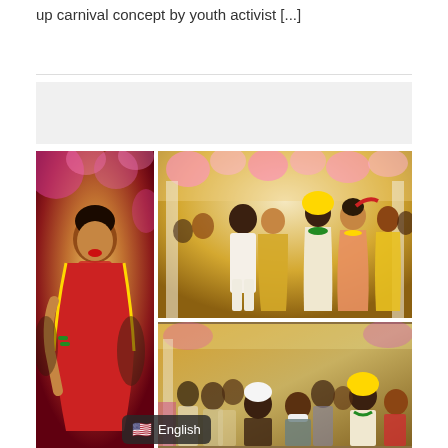up carnival concept by youth activist [...]
[Figure (photo): Advertisement banner placeholder (gray background)]
[Figure (photo): Collage of wedding photos: left panel shows a bride in red bridal attire with jewelry; top-right panel shows a group photo of the wedding party including groom in white sherwani and bride in peach lehenga, with a man in white suit, and others in gold and yellow sarees, with floral backdrop; bottom-right panel shows a crowd scene at the wedding venue with groom in turban and guests.]
English